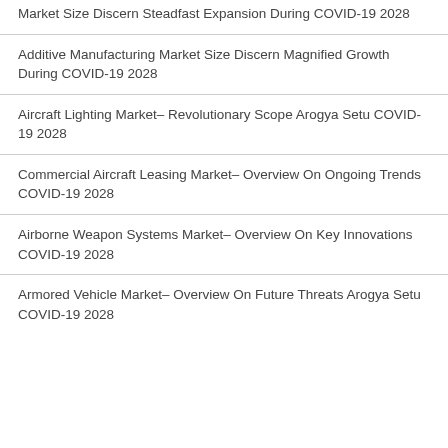Market Size Discern Steadfast Expansion During COVID-19 2028
Additive Manufacturing Market Size Discern Magnified Growth During COVID-19 2028
Aircraft Lighting Market– Revolutionary Scope Arogya Setu COVID-19 2028
Commercial Aircraft Leasing Market– Overview On Ongoing Trends COVID-19 2028
Airborne Weapon Systems Market– Overview On Key Innovations COVID-19 2028
Armored Vehicle Market– Overview On Future Threats Arogya Setu COVID-19 2028